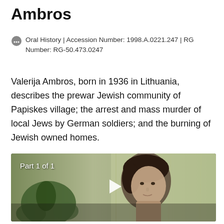Ambros
Oral History | Accession Number: 1998.A.0221.247 | RG Number: RG-50.473.0247
Valerija Ambros, born in 1936 in Lithuania, describes the prewar Jewish community of Papiskes village; the arrest and mass murder of local Jews by German soldiers; and the burning of Jewish owned homes.
[Figure (photo): Video thumbnail showing a woman's face with text 'Part 1 of 1' and a play button overlay. Background shows a plant and curtains.]